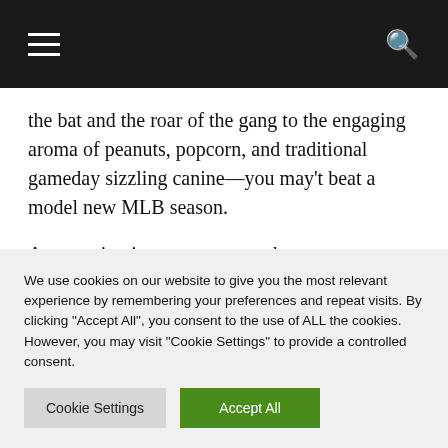Navigation bar with hamburger menu and search icon
the bat and the roar of the gang to the engaging aroma of peanuts, popcorn, and traditional gameday sizzling canine—you may't beat a model new MLB season.
A recreation is even sweeter when your favourite MLB famous person sends a recreation ball hovering into the bleachers, and also you leap up
We use cookies on our website to give you the most relevant experience by remembering your preferences and repeat visits. By clicking "Accept All", you consent to the use of ALL the cookies. However, you may visit "Cookie Settings" to provide a controlled consent.